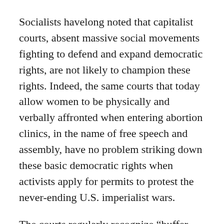Socialists havelong noted that capitalist courts, absent massive social movements fighting to defend and expand democratic rights, are not likely to champion these rights. Indeed, the same courts that today allow women to be physically and verbally affronted when entering abortion clinics, in the name of free speech and assembly, have no problem striking down these basic democratic rights when activists apply for permits to protest the never-ending U.S. imperialist wars.
The courts regularly recognize “buffer zones” to “protect” capitalist institutions, as with the present restrictions on demonstrations near